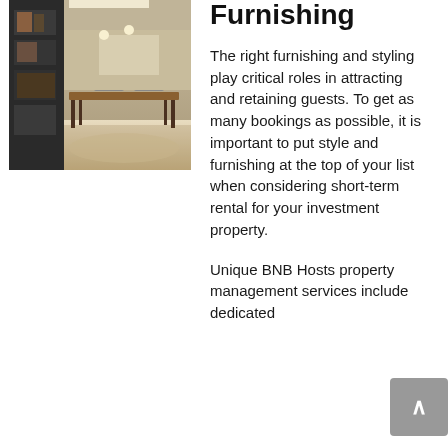[Figure (photo): Interior photo of a modern dining/living room with a wooden table, dark metal frame, decorative shelving, and neutral tones.]
Furnishing
The right furnishing and styling play critical roles in attracting and retaining guests. To get as many bookings as possible, it is important to put style and furnishing at the top of your list when considering short-term rental for your investment property.
Unique BNB Hosts property management services include dedicated